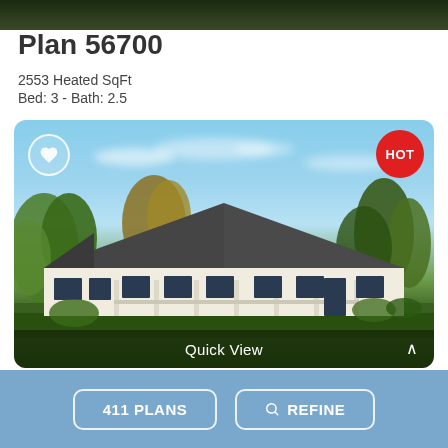[Figure (photo): Dark green/forest top strip image banner]
Plan 56700
2553 Heated SqFt
Bed: 3 - Bath: 2.5
[Figure (photo): House plan rendering showing a single-story ranch-style home with a wide front porch, dark roof, white exterior, surrounded by trees. Has a heart/favorite button in top-left, HOT badge in top-right, and Quick View label at bottom.]
Quick View
411 PLANS   REFINE